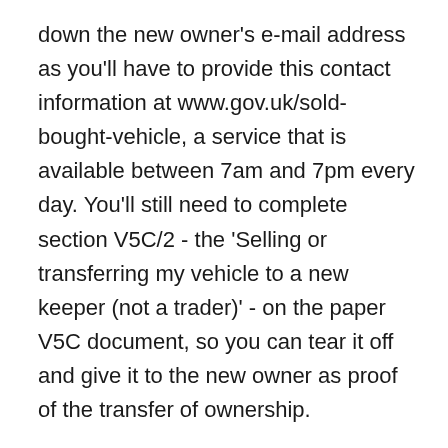down the new owner's e-mail address as you'll have to provide this contact information at www.gov.uk/sold-bought-vehicle, a service that is available between 7am and 7pm every day. You'll still need to complete section V5C/2 - the 'Selling or transferring my vehicle to a new keeper (not a trader)' - on the paper V5C document, so you can tear it off and give it to the new owner as proof of the transfer of ownership.